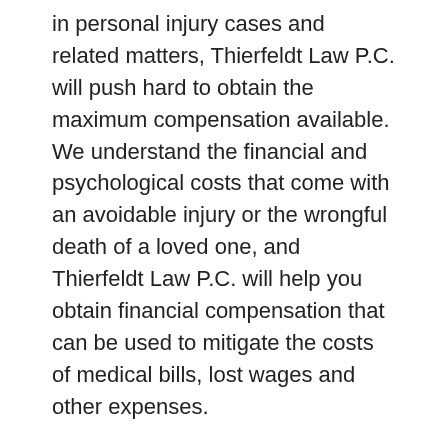in personal injury cases and related matters, Thierfeldt Law P.C. will push hard to obtain the maximum compensation available. We understand the financial and psychological costs that come with an avoidable injury or the wrongful death of a loved one, and Thierfeldt Law P.C. will help you obtain financial compensation that can be used to mitigate the costs of medical bills, lost wages and other expenses.
A Variety Of Litigation Services
Thierfeldt Law P.C. assists clients in a range of legal matters, including: